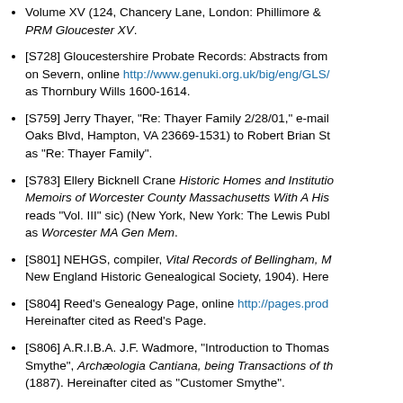Volume XV (124, Chancery Lane, London: Phillimore & ... PRM Gloucester XV.
[S728] Gloucestershire Probate Records: Abstracts from ... on Severn, online http://www.genuki.org.uk/big/eng/GLS/ ... as Thornbury Wills 1600-1614.
[S759] Jerry Thayer, "Re: Thayer Family 2/28/01," e-mail ... Oaks Blvd, Hampton, VA 23669-1531) to Robert Brian St... as "Re: Thayer Family".
[S783] Ellery Bicknell Crane Historic Homes and Institutio... Memoirs of Worcester County Massachusetts With A His... reads "Vol. III" sic) (New York, New York: The Lewis Publ... as Worcester MA Gen Mem.
[S801] NEHGS, compiler, Vital Records of Bellingham, M... New England Historic Genealogical Society, 1904). Here...
[S804] Reed's Genealogy Page, online http://pages.prod... Hereinafter cited as Reed's Page.
[S806] A.R.I.B.A. J.F. Wadmore, "Introduction to Thomas Smythe", Archæologia Cantiana, being Transactions of th... (1887). Hereinafter cited as "Customer Smythe".
[S810] ...